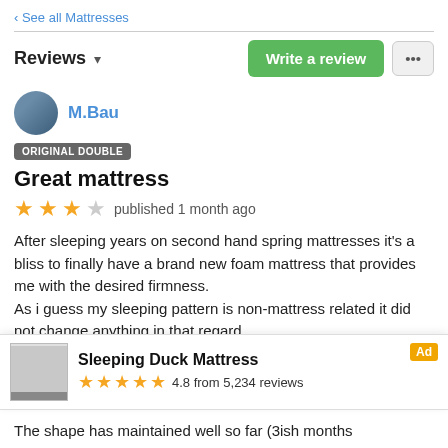‹ See all Mattresses
Reviews ▾
M.Bau
ORIGINAL DOUBLE
Great mattress
★★★☆ published 1 month ago
After sleeping years on second hand spring mattresses it's a bliss to finally have a brand new foam mattress that provides me with the desired firmness.
As i guess my sleeping pattern is non-mattress related it did not change anything in that regard.
Comfort wise i'm very pleased, especially since the
Sleeping Duck Mattress  Ad  4.8 from 5,234 reviews
The shape has maintained well so far (3ish months